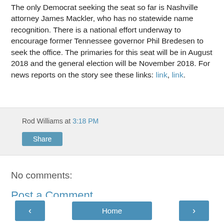The only Democrat seeking the seat so far is Nashville attorney James Mackler, who has no statewide name recognition. There is a national effort underway to encourage former Tennessee governor Phil Bredesen to seek the office. The primaries for this seat will be in August 2018 and the general election will be November 2018. For news reports on the story see these links: link, link.
Rod Williams at 3:18 PM
Share
No comments:
Post a Comment
‹
Home
›